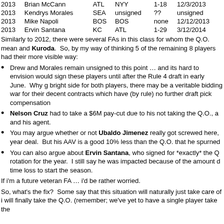| Year | Player | Old Team | New Team | Contract | Date |
| --- | --- | --- | --- | --- | --- |
| 2013 | Brian McCann | ATL | NYY | 1-18 | 12/3/2013 |
| 2013 | Kendrys Morales | SEA | unsigned | ?? | unsigned |
| 2013 | Mike Napoli | BOS | BOS | none | 12/12/2013 |
| 2013 | Ervin Santana | KC | ATL | 1-29 | 3/12/2014 |
Similarly to 2012, there were several FAs in this class for whom the Q.O. mean and Kuroda.  So, by my way of thinking 5 of the remaining 8 players had their more visible way:
Drew and Morales remain unsigned to this point … and its hard to envision would sign these players until after the Rule 4 draft in early June.  Why g bright side for both players, there may be a veritable bidding war for their decent contracts which have (by rule) no further draft pick compensation
Nelson Cruz had to take a $6M pay-cut due to his not taking the Q.O., a and his agent.
You may argue whether or not Ubaldo Jimenez really got screwed here, year deal.  But his AAV is a good 10% less than the Q.O. that he spurned
You can also argue about Ervin Santana, who signed for *exactly* the Q rotation for the year.  I still say he was impacted because of the amount d time loss to start the season.
If i'm a future veteran FA … i'd be rather worried.
So, what's the fix?  Some say that this situation will naturally just take care of i will finally take the Q.O. (remember; we've yet to have a single player take the